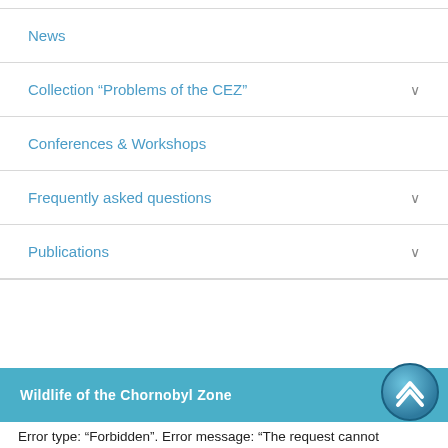News
Collection “Problems of the CEZ”
Conferences & Workshops
Frequently asked questions
Publications
Wildlife of the Chornobyl Zone
Error type: “Forbidden”. Error message: “The request cannot